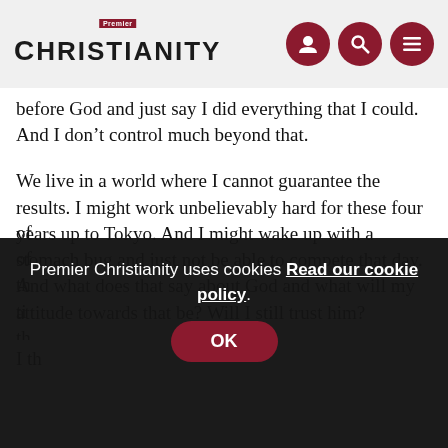Premier Christianity
before God and just say I did everything that I could. And I don’t control much beyond that.
We live in a world where I cannot guarantee the results. I might work unbelievably hard for these four years up to Tokyo. And I might wake up with a stomach bug and just not be able to compete that day. And what does that say about God and what will my attitude towards that be? Will I still trust him?
I th[ink ...] of [...] of [...] th[...] ti[me] th[...] this just so she realises I don’t care if she doesn’t finish all the time” because failure is a great tool in order to learn how to
Premier Christianity uses cookies Read our cookie policy. OK